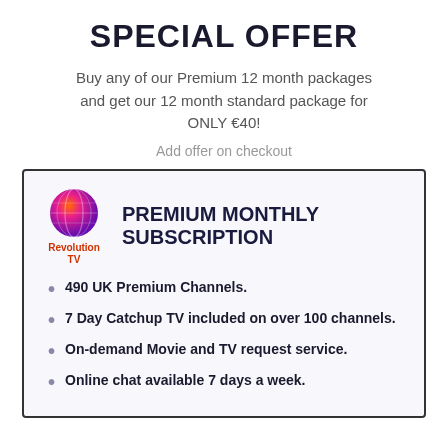SPECIAL OFFER
Buy any of our Premium 12 month packages and get our 12 month standard package for ONLY €40!
Add offer on checkout
PREMIUM MONTHLY SUBSCRIPTION
490 UK Premium Channels.
7 Day Catchup TV included on over 100 channels.
On-demand Movie and TV request service.
Online chat available 7 days a week.